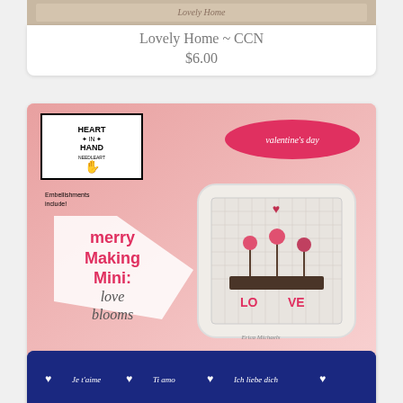[Figure (photo): Top of product image for Lovely Home CCN cross stitch pattern - partially visible]
Lovely Home ~ CCN
$6.00
[Figure (photo): Heart in Hand Needleart product image showing a Valentine's Day mini pillow cross stitch pattern called Merry Making Mini: Love Blooms, featuring a pillow with flowers in a planter spelling LOVE]
Merry Making Mini Love Blooms ~ HIH
$7.00
[Figure (photo): Bottom portion of a third product image showing dark blue background with heart designs and text in multiple languages]